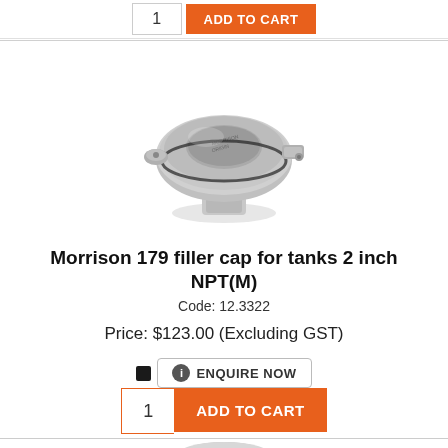[Figure (other): Add to cart section at top with quantity input showing '1' and orange ADD TO CART button]
[Figure (photo): Morrison 179 filler cap for tanks 2 inch NPT(M) - a metal threaded filler cap with locking tab, round lid, viewed from above at slight angle]
Morrison 179 filler cap for tanks 2 inch NPT(M)
Code: 12.3322
Price: $123.00 (Excluding GST)
ENQUIRE NOW
[Figure (other): Add to cart row with quantity input '1' and orange ADD TO CART button, with orange border]
[Figure (photo): Partial view of another product at the bottom - appears to be a metal fitting or strainer, partially visible]